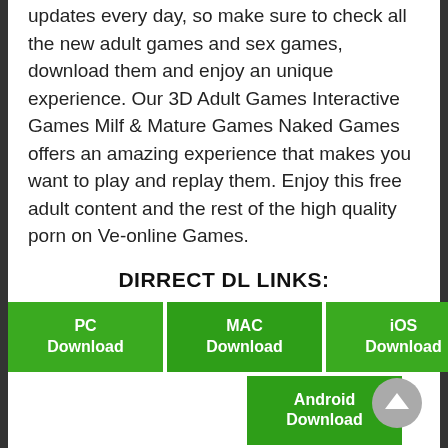updates every day, so make sure to check all the new adult games and sex games, download them and enjoy an unique experience. Our 3D Adult Games Interactive Games Milf & Mature Games Naked Games offers an amazing experience that makes you want to play and replay them. Enjoy this free adult content and the rest of the high quality porn on Ve-online Games.
DIRRECT DL LINKS:
PC Download
MAC Download
iOS Download
Android Download
[ Direct download link (PC) ]